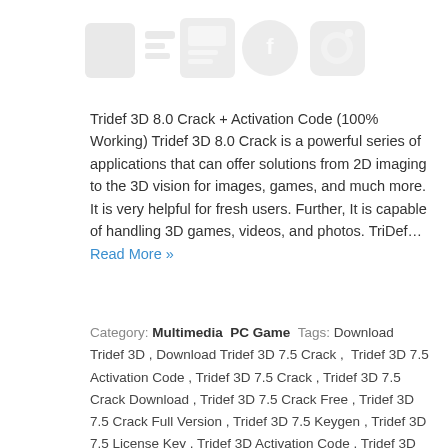[Figure (other): Watermark/ghost image of social media and multimedia icons in light gray]
Tridef 3D 8.0 Crack + Activation Code (100% Working) Tridef 3D 8.0 Crack is a powerful series of applications that can offer solutions from 2D imaging to the 3D vision for images, games, and much more. It is very helpful for fresh users. Further, It is capable of handling 3D games, videos, and photos. TriDef… Read More »
Category: Multimedia  PC Game  Tags: Download Tridef 3D , Download Tridef 3D 7.5 Crack , Tridef 3D 7.5 Activation Code , Tridef 3D 7.5 Crack , Tridef 3D 7.5 Crack Download , Tridef 3D 7.5 Crack Free , Tridef 3D 7.5 Crack Full Version , Tridef 3D 7.5 Keygen , Tridef 3D 7.5 License Key , Tridef 3D Activation Code , Tridef 3D Crack , Tridef 3D Download With Activation Code , Tridef 3D Download with Crack , Tridef Activation Code , Tridef Crack , Tridef Free Activation , Tridef with Activation Key Download